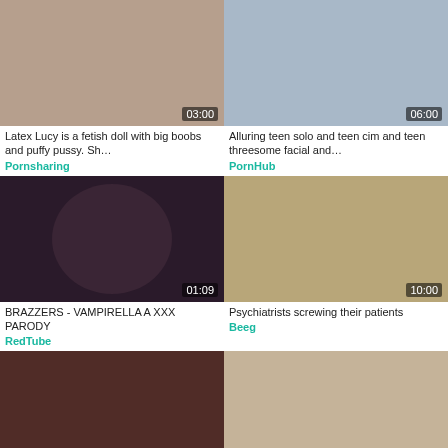[Figure (photo): Video thumbnail with duration 03:00]
Latex Lucy is a fetish doll with big boobs and puffy pussy. Sh…
Pornsharing
[Figure (photo): Video thumbnail with duration 06:00]
Alluring teen solo and teen cim and teen threesome facial and…
PornHub
[Figure (photo): Video thumbnail with duration 01:09]
BRAZZERS - VAMPIRELLA A XXX PARODY
RedTube
[Figure (photo): Video thumbnail with duration 10:00]
Psychiatrists screwing their patients
Beeg
[Figure (photo): Video thumbnail with duration 10:04]
Bizarre bondage session with slave Janine
[Figure (photo): Video thumbnail with duration 01:40:43]
Yui Sarina in Mon2 The Gate (Uncensored)